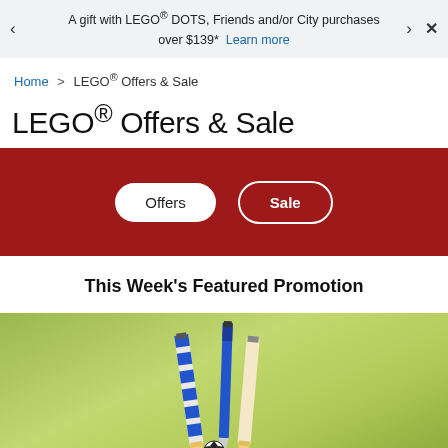A gift with LEGO® DOTS, Friends and/or City purchases over $139* Learn more
Home > LEGO® Offers & Sale
LEGO® Offers & Sale
[Figure (other): Red navigation bar with two pill-shaped buttons: 'Offers' (white filled) and 'Sale' (white outlined)]
This Week's Featured Promotion
[Figure (photo): Green background promotional image showing pencils, a blue pen, and a small LEGO soccer ball figure]